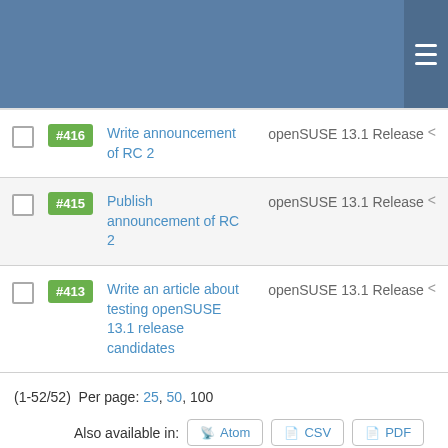#416 Write announcement of RC 2 — openSUSE 13.1 Release
#415 Publish announcement of RC 2 — openSUSE 13.1 Release
#413 Write an article about testing openSUSE 13.1 release candidates — openSUSE 13.1 Release
(1-52/52)  Per page: 25, 50, 100
Also available in:  Atom  CSV  PDF
Powered by Redmine © 2006-2020 Jean-Philippe Lang